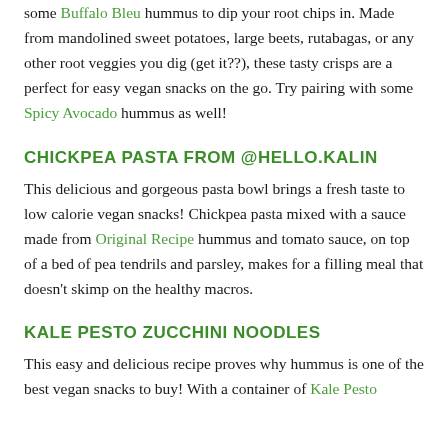some Buffalo Bleu hummus to dip your root chips in. Made from mandolined sweet potatoes, large beets, rutabagas, or any other root veggies you dig (get it??), these tasty crisps are a perfect for easy vegan snacks on the go. Try pairing with some Spicy Avocado hummus as well!
CHICKPEA PASTA FROM @HELLO.KALIN
This delicious and gorgeous pasta bowl brings a fresh taste to low calorie vegan snacks! Chickpea pasta mixed with a sauce made from Original Recipe hummus and tomato sauce, on top of a bed of pea tendrils and parsley, makes for a filling meal that doesn't skimp on the healthy macros.
KALE PESTO ZUCCHINI NOODLES
This easy and delicious recipe proves why hummus is one of the best vegan snacks to buy! With a container of Kale Pesto